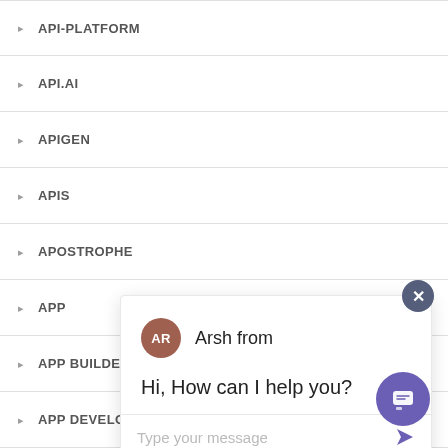API-PLATFORM
API.AI
APIGEN
APIS
APOSTROPHE
APP
APP BUILDERS
APP DEVELOPMENT
APP OPTIMIZATION
[Figure (screenshot): Chat widget overlay with agent avatar 'AR' labeled 'Arsh from', message 'Hi, How can I help you?', and message input field 'Type your message' with send arrow. A dark circular close button (×) is in the top right. A purple chat launcher button is at the bottom right.]